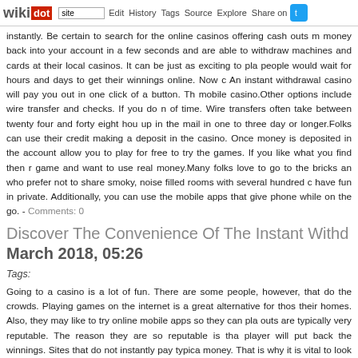wikidot | site Edit History Tags Source Explore Share on
instantly. Be certain to search for the online casinos offering cash outs money back into your account in a few seconds and are able to withdraw machines and cards at their local casinos. It can be just as exciting to pla people would wait for hours and days to get their winnings online. Now c An instant withdrawal casino will pay you out in one click of a button. Th mobile casino.Other options include wire transfer and checks. If you do of time. Wire transfers often take between twenty four and forty eight hou up in the mail in one to three day or longer.Folks can use their credit making a deposit in the casino. Once money is deposited in the account allow you to play for free to try the games. If you like what you find then r game and want to use real money.Many folks love to go to the bricks an who prefer not to share smoky, noise filled rooms with several hundred c have fun in private. Additionally, you can use the mobile apps that give phone while on the go. - Comments: 0
Discover The Convenience Of The Instant Withd
March 2018, 05:26
Tags:
Going to a casino is a lot of fun. There are some people, however, that d the crowds. Playing games on the internet is a great alternative for thos their homes. Also, they may like to try online mobile apps so they can play outs are typically very reputable. The reason they are so reputable is th player will put back the winnings. Sites that do not instantly pay typica money. That is why it is vital to look at the payout speed of the online ca others feel about a casinos speed of payout. You could try the sites out y that to do that you will need to make a deposit.There are some restrictio